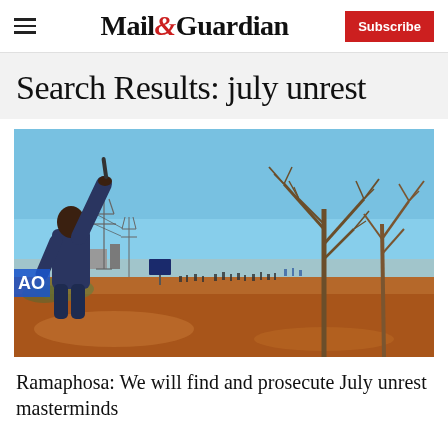Mail&Guardian | Subscribe
Search Results: july unrest
[Figure (photo): A man raises a gun in the air with his back to the camera; in the background a crowd of people scatter across open ground with dry trees and electricity pylons visible under a blue sky.]
Ramaphosa: We will find and prosecute July unrest masterminds